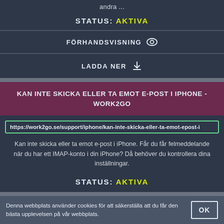andra ...
STATUS: AKTIVA
FÖRHANDSVISNING
LADDA NER
KAN INTE SKICKA ELLER TA EMOT E-POST I IPHONE - WORK2GO
https://work2go.se/support/iphone/kan-inte-skicka-eller-ta-emot-epost-i
Kan inte skicka eller ta emot e-post i iPhone. Får du får felmeddelande när du har ett IMAP-konto i din iPhone? Då behöver du kontrollera dina inställningar.
STATUS: AKTIVA
Denna webbplats använder cookies för att säkerställa att du får den bästa upplevelsen på vår webbplats.